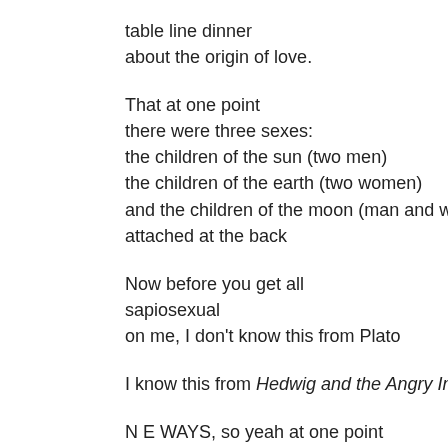table line dinner
about the origin of love.

That at one point
there were three sexes:
the children of the sun (two men)
the children of the earth (two women)
and the children of the moon (man and woman)
attached at the back

Now before you get all
sapiosexual
on me, I don't know this from Plato

I know this from Hedwig and the Angry Inch

N E WAYS, so yeah at one point
the three sexes were whole